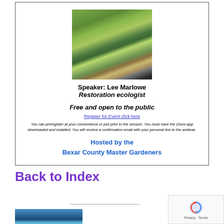[Figure (photo): Person standing in a natural outdoor setting near water with tall grasses and vegetation in the background, wearing a hat]
Speaker: Lee Marlowe
Restoration ecologist
Free and open to the public
Register for Event click here
You can preregister at your convenience or just prior to the session. You must have the Zoom app downloaded and installed. You will receive a confirmation email with your personal link to the webinar.
Hosted by the
Bexar County Master Gardeners
Back to Index
[Figure (photo): Partial photo visible at bottom of page showing water/aquatic scene]